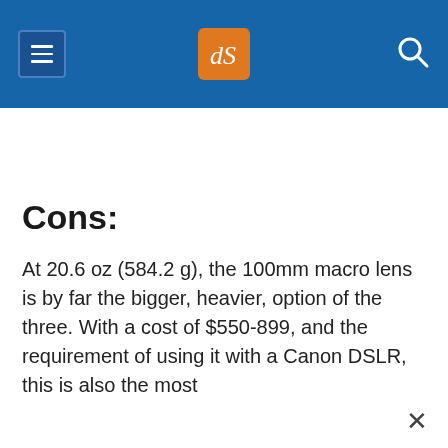dPS website header with menu, logo, and search icons
Cons:
At 20.6 oz (584.2 g), the 100mm macro lens is by far the bigger, heavier, option of the three. With a cost of $550-899, and the requirement of using it with a Canon DSLR, this is also the most